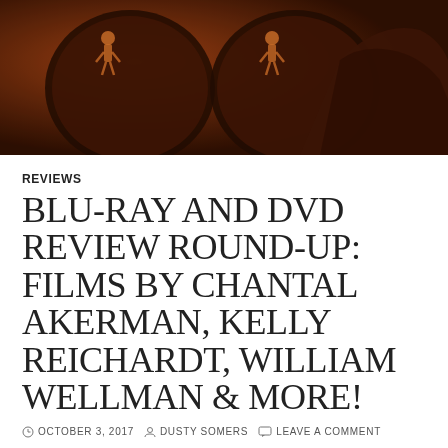[Figure (photo): Dark sepia-toned cinematic hero image showing figures and reflective surfaces with warm orange-brown tones]
REVIEWS
BLU-RAY AND DVD REVIEW ROUND-UP: FILMS BY CHANTAL AKERMAN, KELLY REICHARDT, WILLIAM WELLMAN & MORE!
OCTOBER 3, 2017  DUSTY SOMERS  LEAVE A COMMENT
[Figure (photo): Criterion Collection DVD/Blu-ray cover for Certain Women (2016) featuring names Laura Dern, Kristen Stewart, Michelle Williams, Lily Gladstone on a grey-toned background with Criterion logo]
Certain Women (2016)
The Criterion Collection